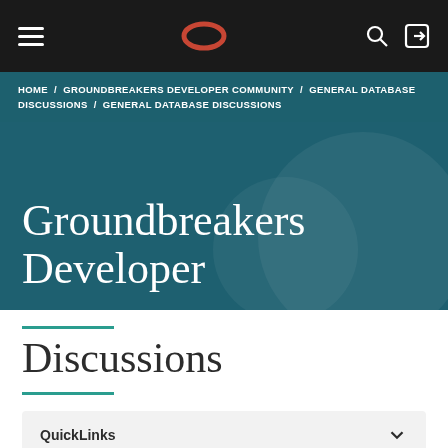Navigation bar with hamburger menu, Oracle logo, search and sign-in icons
HOME / GROUNDBREAKERS DEVELOPER COMMUNITY / GENERAL DATABASE DISCUSSIONS / GENERAL DATABASE DISCUSSIONS
Groundbreakers Developer
Discussions
QuickLinks